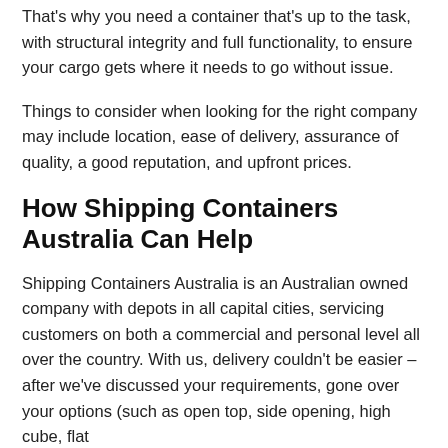That's why you need a container that's up to the task, with structural integrity and full functionality, to ensure your cargo gets where it needs to go without issue.
Things to consider when looking for the right company may include location, ease of delivery, assurance of quality, a good reputation, and upfront prices.
How Shipping Containers Australia Can Help
Shipping Containers Australia is an Australian owned company with depots in all capital cities, servicing customers on both a commercial and personal level all over the country. With us, delivery couldn't be easier – after we've discussed your requirements, gone over your options (such as open top, side opening, high cube, flat